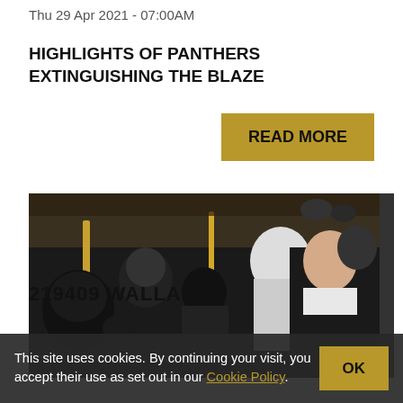Thu 29 Apr 2021 - 07:00AM
HIGHLIGHTS OF PANTHERS EXTINGUISHING THE BLAZE
READ MORE
[Figure (photo): Hockey coach or staff member in dark jacket watching play from the bench area, surrounded by players in black and gold hockey equipment]
This site uses cookies. By continuing your visit, you accept their use as set out in our Cookie Policy.
OK
219409 WALLACE